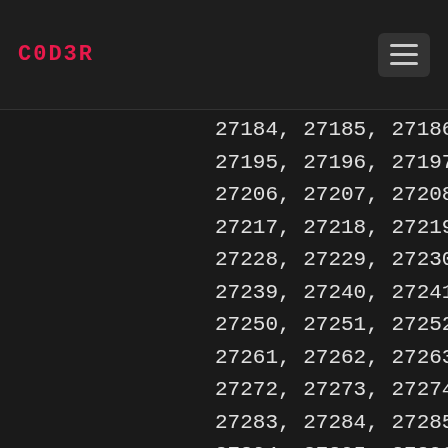C0D3R
27184, 27185, 27186, 27187, 27188, 27189, 27190, 27195, 27196, 27197, 27198, 27199, 27200, 27201, 27206, 27207, 27208, 27209, 27210, 27211, 27211, 27217, 27218, 27219, 27220, 27221, 27222, 27223, 27228, 27229, 27230, 27231, 27232, 27233, 27233, 27239, 27240, 27241, 27242, 27243, 27244, 27244, 27250, 27251, 27252, 27253, 27254, 27255, 27255, 27261, 27262, 27263, 27264, 27265, 27266, 27266, 27272, 27273, 27274, 27275, 27276, 27277, 27277, 27283, 27284, 27285, 27286, 27287, 27288, 27289, 27294, 27295, 27296, 27297, 27298, 27299, 27300, 27304, 27305, 27306, 27307, 27308, 27309, 27309, 27315, 27316, 27317, 27318, 27319, 27320, 27321, 27326, 27327, 27328, 27329, 27330, 27331, 27333, 27337, 27338, 27339, 27340, 27341, 27342, 27344, 27348, 27349, 27350, 27351, 27352, 27353, 27355